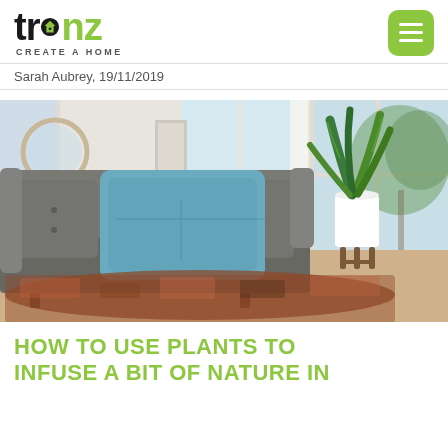[Figure (logo): Trenz 'Create a Home' logo with green NZ text and house icon]
[Figure (other): Green rounded rectangle hamburger/menu button with three white horizontal bars]
Sarah Aubrey, 19/11/2019
[Figure (photo): Interior living room photo with a grey tufted sofa, teal cushion, a white pot plant with tall green snake plant, wooden floor, and windows with trees outside]
HOW TO USE PLANTS TO INFUSE A BIT OF NATURE IN